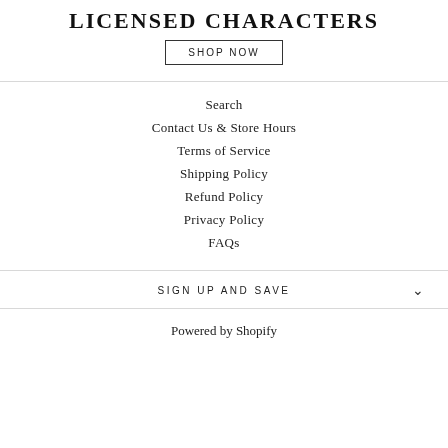LICENSED CHARACTERS
SHOP NOW
Search
Contact Us & Store Hours
Terms of Service
Shipping Policy
Refund Policy
Privacy Policy
FAQs
SIGN UP AND SAVE
Powered by Shopify